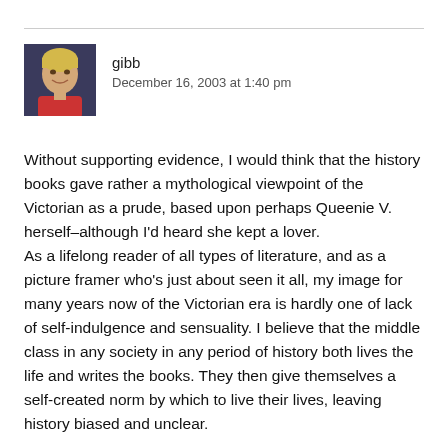gibb
December 16, 2003 at 1:40 pm
Without supporting evidence, I would think that the history books gave rather a mythological viewpoint of the Victorian as a prude, based upon perhaps Queenie V. herself–although I'd heard she kept a lover.
As a lifelong reader of all types of literature, and as a picture framer who's just about seen it all, my image for many years now of the Victorian era is hardly one of lack of self-indulgence and sensuality. I believe that the middle class in any society in any period of history both lives the life and writes the books. They then give themselves a self-created norm by which to live their lives, leaving history biased and unclear.